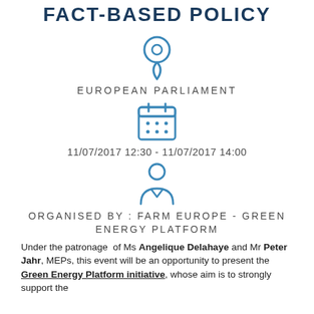FACT-BASED POLICY
[Figure (illustration): Location pin icon in blue outline style]
EUROPEAN PARLIAMENT
[Figure (illustration): Calendar icon in blue outline style]
11/07/2017 12:30 - 11/07/2017 14:00
[Figure (illustration): Person/organiser icon in blue outline style]
ORGANISED BY : FARM EUROPE - GREEN ENERGY PLATFORM
Under the patronage of Ms Angelique Delahaye and Mr Peter Jahr, MEPs, this event will be an opportunity to present the Green Energy Platform initiative, whose aim is to strongly support the